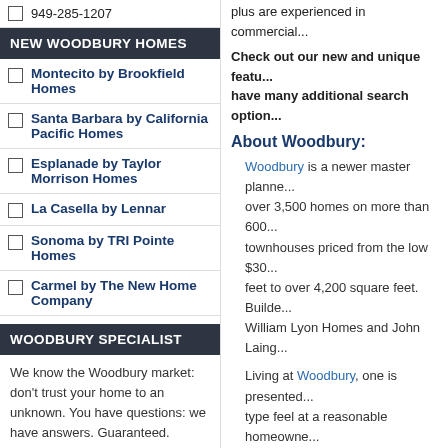949-285-1207
NEW WOODBURY HOMES
Montecito by Brookfield Homes
Santa Barbara by California Pacific Homes
Esplanade by Taylor Morrison Homes
La Casella by Lennar
Sonoma by TRI Pointe Homes
Carmel by The New Home Company
WOODBURY SPECIALIST
We know the Woodbury market: don't trust your home to an unknown. You have questions: we have answers. Guaranteed.
plus are experienced in commercial...
Check out our new and unique featu... have many additional search option...
About Woodbury:
Woodbury is a newer master planne... over 3,500 homes on more than 600... townhouses priced from the low $30... feet to over 4,200 square feet. Builde... William Lyon Homes and John Laing...
Living at Woodbury, one is presented... type feel at a reasonable homeowne... and spas, including the Lagoon Pool... and the Resort Pool with beach, reso... Sports Lawns and much more!
There is also 30-acre, resort-style pa... barbecues, outdoor fireplace with se... with wading pool, and wonderful inte... cabanas for all to enjoy.
Woodbury Homes For Sale:
Click to see what's currently listed fo... See Resale listed homes for...